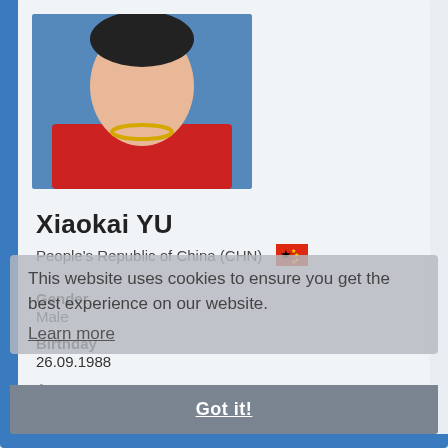[Figure (photo): Headshot photo of Xiaokai YU wearing a red shirt and gold necklace, against a blue background]
Xiaokai YU
People's Republic of China (CHN) 🇨🇳
Gender
Male
Birthday
26.09.1988
Age
33 years 10 months 29 days
Residence
Yantai, CHN
Height
175 cm
Weight
75 kg
Profession
Athlete
This website uses cookies to ensure you get the best experience on our website.
Learn more
Got it!